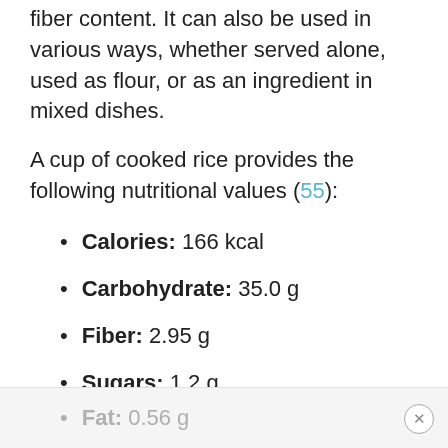fiber content. It can also be used in various ways, whether served alone, used as flour, or as an ingredient in mixed dishes.
A cup of cooked rice provides the following nutritional values (55):
Calories: 166 kcal
Carbohydrate: 35.0 g
Fiber: 2.95 g
Sugars: 1.2 g
Fat: 0.56 g